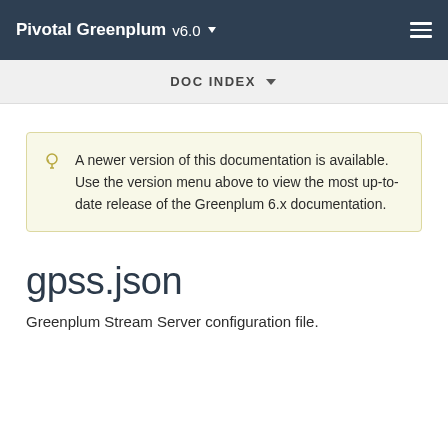Pivotal Greenplum v6.0
DOC INDEX
A newer version of this documentation is available. Use the version menu above to view the most up-to-date release of the Greenplum 6.x documentation.
gpss.json
Greenplum Stream Server configuration file.